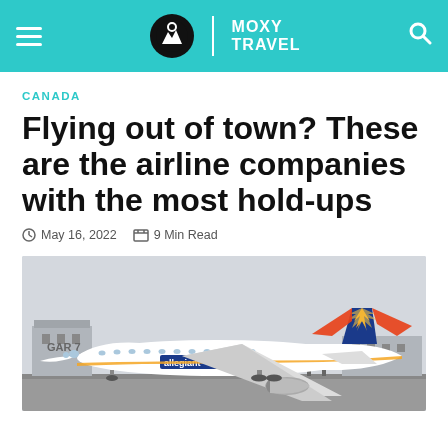MOXY TRAVEL
CANADA
Flying out of town? These are the airline companies with the most hold-ups
May 16, 2022  9 Min Read
[Figure (photo): Allegiant Air airplane on airport tarmac, white body with blue, orange and yellow tail livery, 'allegiant' text on fuselage]